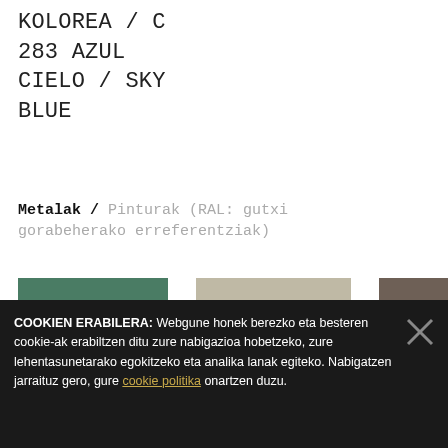KOLOREA / C
283 AZUL
CIELO / SKY
BLUE
Metalak / Pinturak (RAL: gutxi gorabeherako erreferentziak)
[Figure (illustration): Three color swatches side by side: a muted green, a beige/tan, and a brownish-gray with a white notch at bottom-right corner containing an upward arrow.]
COOKIEN ERABILERA: Webgune honek berezko eta besteren cookie-ak erabiltzen ditu zure nabigazioa hobetzeko, zure lehentasunetarako egokitzeko eta analika lanak egiteko. Nabigatzen jarraituz gero, gure cookie politika onartzen duzu.